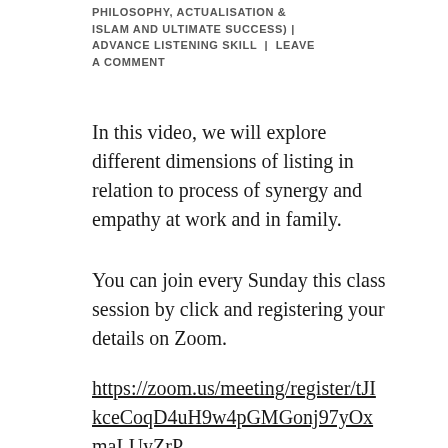PHILOSOPHY, ACTUALISATION & ISLAM AND ULTIMATE SUCCESS) | ADVANCE LISTENING SKILL | LEAVE A COMMENT
In this video, we will explore different dimensions of listing in relation to process of synergy and empathy at work and in family.
You can join every Sunday this class session by click and registering your details on Zoom.
https://zoom.us/meeting/register/tJIkceCoqD4uH9w4pGMGonj97yOxmaLUyZrP